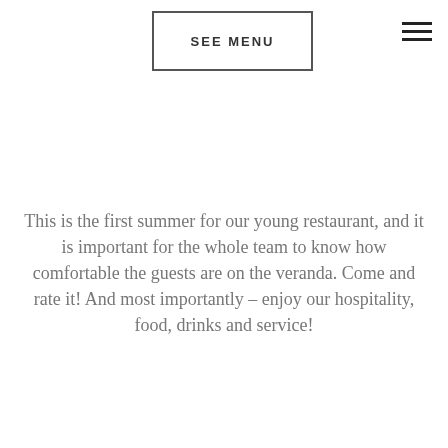SEE MENU
This is the first summer for our young restaurant, and it is important for the whole team to know how comfortable the guests are on the veranda. Come and rate it! And most importantly – enjoy our hospitality, food, drinks and service!